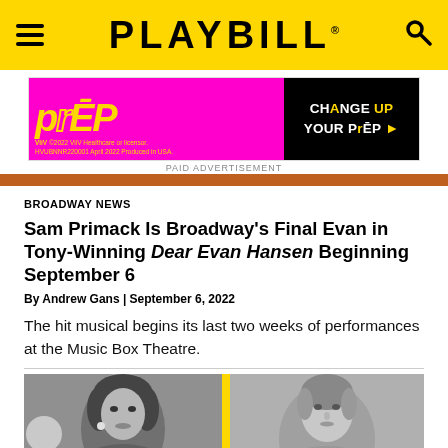PLAYBILL
[Figure (photo): PrEP advertisement banner: pink/magenta left side with yellow stylized PrEP logo, black right side with text 'CHANGE UP YOUR PrEP']
PAID ADVERTISEMENT
BROADWAY NEWS
Sam Primack Is Broadway's Final Evan in Tony-Winning Dear Evan Hansen Beginning September 6
By Andrew Gans | September 6, 2022
The hit musical begins its last two weeks of performances at the Music Box Theatre.
[Figure (photo): Black and white photo of two women side by side, separated by a yellow vertical stripe]